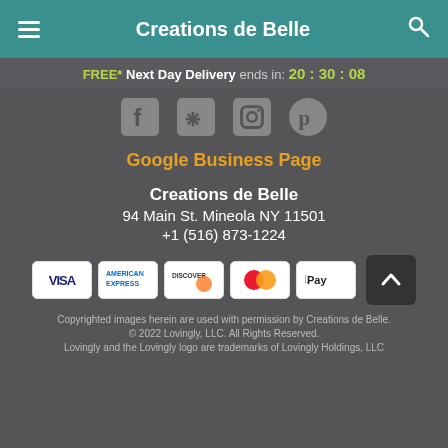Creations de Belle
FREE* Next Day Delivery ends in: 20:30:08
[Figure (other): Social media icons: Facebook, Yelp, Instagram, Pinterest]
Google Business Page
Creations de Belle
94 Main St. Mineola NY 11501
+1 (516) 873-1224
[Figure (other): Payment method icons: VISA, American Express, Discover, Mastercard, Apple Pay, and scroll-to-top button]
Copyrighted images herein are used with permission by Creations de Belle.
© 2022 Lovingly, LLC. All Rights Reserved.
Lovingly and the Lovingly logo are trademarks of Lovingly Holdings, LLC